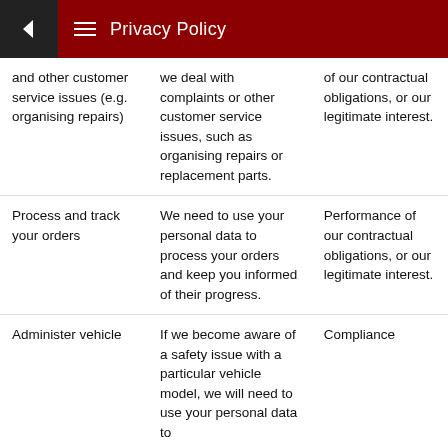Privacy Policy
|  |  |  |
| --- | --- | --- |
| and other customer service issues (e.g. organising repairs) | we deal with complaints or other customer service issues, such as organising repairs or replacement parts. | of our contractual obligations, or our legitimate interest. |
| Process and track your orders | We need to use your personal data to process your orders and keep you informed of their progress. | Performance of our contractual obligations, or our legitimate interest. |
| Administer vehicle | If we become aware of a safety issue with a particular vehicle model, we will need to use your personal data to | Compliance |